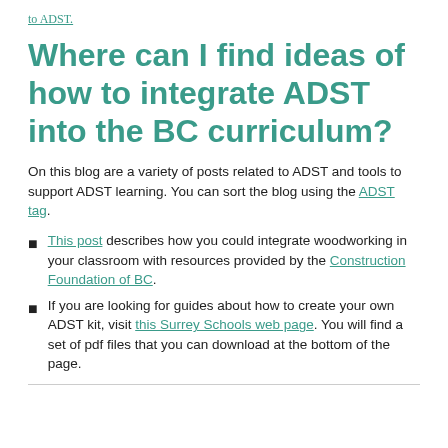to ADST.
Where can I find ideas of how to integrate ADST into the BC curriculum?
On this blog are a variety of posts related to ADST and tools to support ADST learning. You can sort the blog using the ADST tag.
This post describes how you could integrate woodworking in your classroom with resources provided by the Construction Foundation of BC.
If you are looking for guides about how to create your own ADST kit, visit this Surrey Schools web page. You will find a set of pdf files that you can download at the bottom of the page.